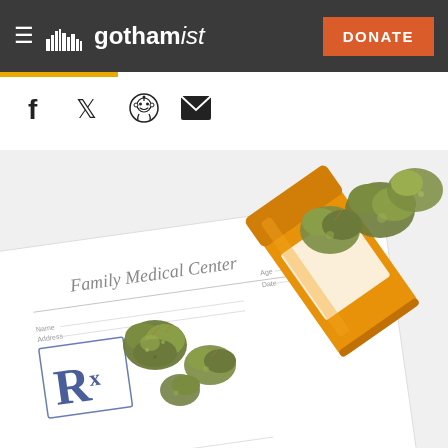gothamist — DONATE
[Figure (logo): Gothamist website header with hamburger menu, skyline logo, 'gothamist' wordmark, and orange DONATE button on dark grey background]
[Figure (other): Social media sharing icons: Facebook, Twitter, Reddit, Email]
[Figure (photo): Medical marijuana: an orange prescription pill bottle tipped on its side on a prescription pad (Family Medical Center letterhead with Rx symbol) with cannabis buds spilling out]